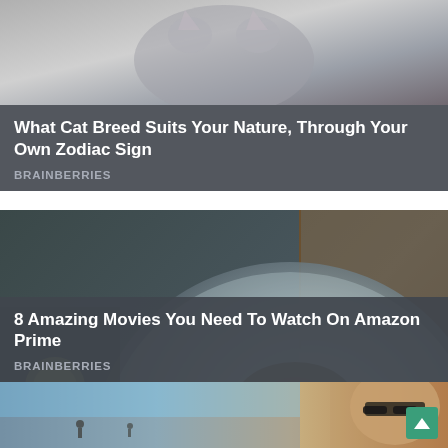[Figure (screenshot): Top card: partial photo of a gray cat at top, overlaid with dark gray banner showing article title and source]
What Cat Breed Suits Your Nature, Through Your Own Zodiac Sign
BRAINBERRIES
[Figure (screenshot): Middle card: photo of a frightened woman in a bathtub, from a movie scene, overlaid with dark gray banner]
8 Amazing Movies You Need To Watch On Amazon Prime
BRAINBERRIES
[Figure (screenshot): Bottom card: partial photo of a man at a beach wearing sunglasses, with a scroll-to-top green button]